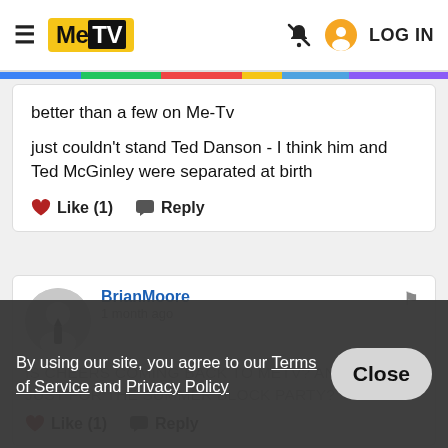MeTV | LOG IN
better than a few on Me-Tv

just couldn't stand Ted Danson - I think him and Ted McGinley were separated at birth
Like (1)  Reply
BrianMoore
1 month ago
IS CHEERS COMING BACK TO METV? And not just for the Summer Block Party?
Like (1)  Reply
By using our site, you agree to our Terms of Service and Privacy Policy